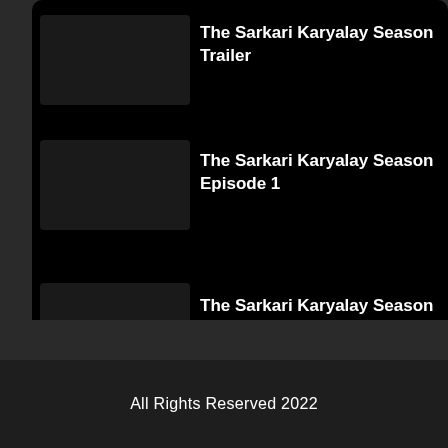The Sarkari Karyalay Season Trailer
The Sarkari Karyalay Season Episode 1
The Sarkari Karyalay Season Episode 3
All Rights Reserved 2022